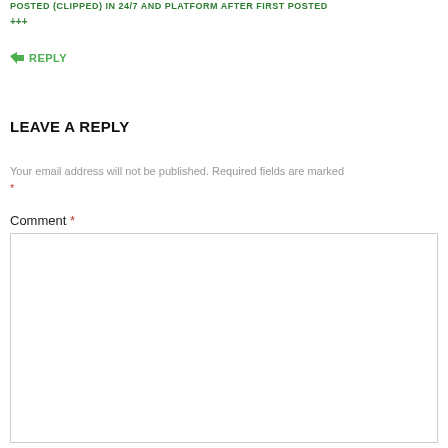POSTED (CLIPPED) IN 24/7 AND PLATFORM AFTER FIRST POSTED
+++
↳ REPLY
LEAVE A REPLY
Your email address will not be published. Required fields are marked *
Comment *